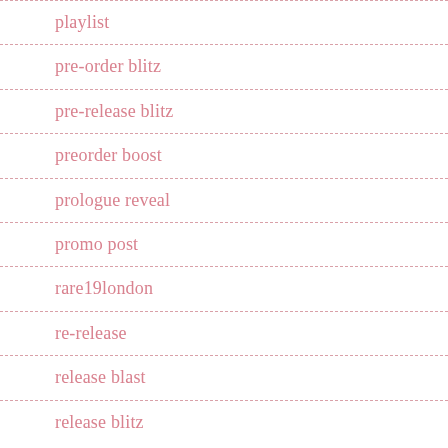playlist
pre-order blitz
pre-release blitz
preorder boost
prologue reveal
promo post
rare19london
re-release
release blast
release blitz